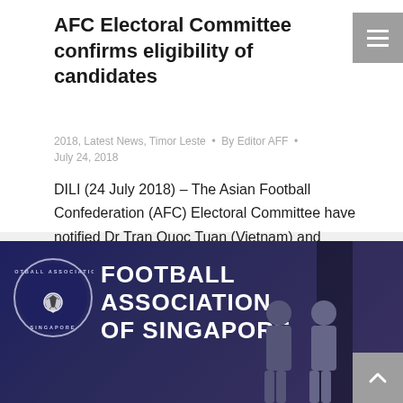AFC Electoral Committee confirms eligibility of candidates
2018, Latest News, Timor Leste • By Editor AFF • July 24, 2018
DILI (24 July 2018) – The Asian Football Confederation (AFC) Electoral Committee have notified Dr Tran Quoc Tuan (Vietnam) and Ganbaatar Amgalanbaatar (Mongolia) that they are eligible to run for election to the AFC Executive Committee at the AFC 28th Ordinary Congress to be held in Kuala Lumpur, Malaysia on 31 October, 2018.  Dr Tran…
[Figure (photo): Football Association of Singapore banner with logo and two people standing in front of a dark blue background]